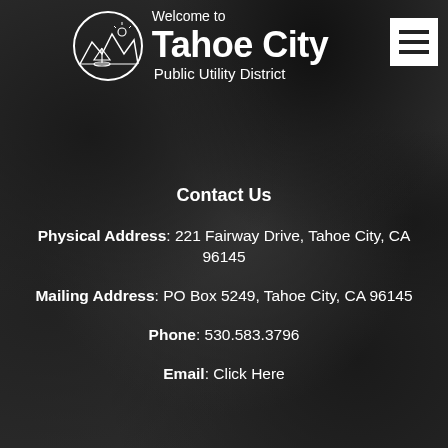[Figure (screenshot): Tahoe City Public Utility District website header with logo (mountain/lake scene with sailboat) and hamburger menu icon on a dark rocky/foliage background]
Welcome to Tahoe City Public Utility District
Contact Us
Physical Address: 221 Fairway Drive, Tahoe City, CA 96145
Mailing Address: PO Box 5249, Tahoe City, CA 96145
Phone: 530.583.3796
Email: Click Here